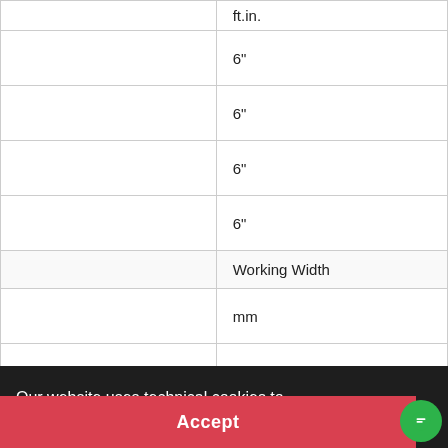|  | ft.in. |  | Working Width | mm |
| --- | --- | --- | --- | --- |
|  | 6" |
|  | 6" |
|  | 6" |
|  | 6" |
|  | Working Width |
|  | mm |
|  | 860 |
Our website uses technical cookies to provide information.
Accept